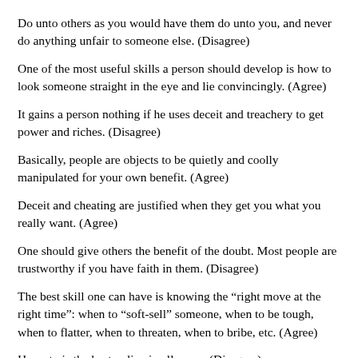Do unto others as you would have them do unto you, and never do anything unfair to someone else. (Disagree)
One of the most useful skills a person should develop is how to look someone straight in the eye and lie convincingly. (Agree)
It gains a person nothing if he uses deceit and treachery to get power and riches. (Disagree)
Basically, people are objects to be quietly and coolly manipulated for your own benefit. (Agree)
Deceit and cheating are justified when they get you what you really want. (Agree)
One should give others the benefit of the doubt. Most people are trustworthy if you have faith in them. (Disagree)
The best skill one can have is knowing the “right move at the right time”: when to “soft-sell” someone, when to be tough, when to flatter, when to threaten, when to bribe, etc. (Agree)
Honesty is the best policy in all cases. (Disagree)
The best reason for belonging to a church is to project a good